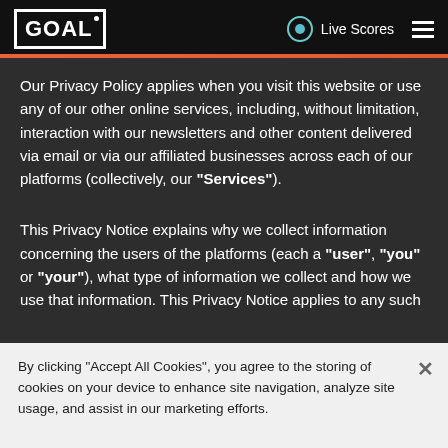GOAL | Live Scores
Our Privacy Policy applies when you visit this website or use any of our other online services, including, without limitation, interaction with our newsletters and other content delivered via email or via our affiliated businesses across each of our platforms (collectively, our “Services”).
This Privacy Notice explains why we collect information concerning the users of the platforms (each a “user”, “you” or “your”), what type of information we collect and how we use that information. This Privacy Notice applies to any such
By clicking "Accept All Cookies", you agree to the storing of cookies on your device to enhance site navigation, analyze site usage, and assist in our marketing efforts.